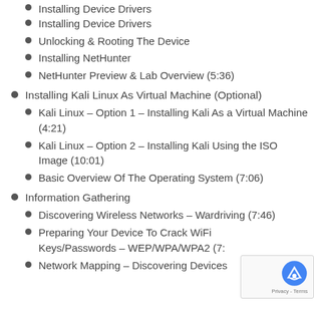Installing Device Drivers
Unlocking & Rooting The Device
Installing NetHunter
NetHunter Preview & Lab Overview (5:36)
Installing Kali Linux As Virtual Machine (Optional)
Kali Linux – Option 1 – Installing Kali As a Virtual Machine (4:21)
Kali Linux – Option 2 – Installing Kali Using the ISO Image (10:01)
Basic Overview Of The Operating System (7:06)
Information Gathering
Discovering Wireless Networks – Wardriving (7:46)
Preparing Your Device To Crack WiFi Keys/Passwords – WEP/WPA/WPA2 (7:…
Network Mapping – Discovering Devices